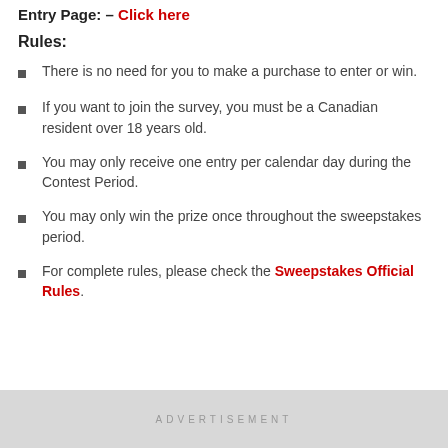Entry Page: – Click here
Rules:
There is no need for you to make a purchase to enter or win.
If you want to join the survey, you must be a Canadian resident over 18 years old.
You may only receive one entry per calendar day during the Contest Period.
You may only win the prize once throughout the sweepstakes period.
For complete rules, please check the Sweepstakes Official Rules.
ADVERTISEMENT